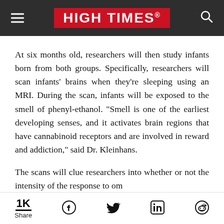[Figure (logo): High Times logo — white text on red background in header bar with dark grey background, hamburger menu icon on left, search icon on right]
At six months old, researchers will then study infants born from both groups. Specifically, researchers will scan infants' brains when they're sleeping using an MRI. During the scan, infants will be exposed to the smell of phenyl-ethanol. “Smell is one of the earliest developing senses, and it activates brain regions that have cannabinoid receptors and are involved in reward and addiction,” said Dr. Kleinhans.
The scans will clue researchers into whether or not the intensity of the response to ominous in the brain is
1K Share [Facebook] [Twitter] [LinkedIn] [Reddit]